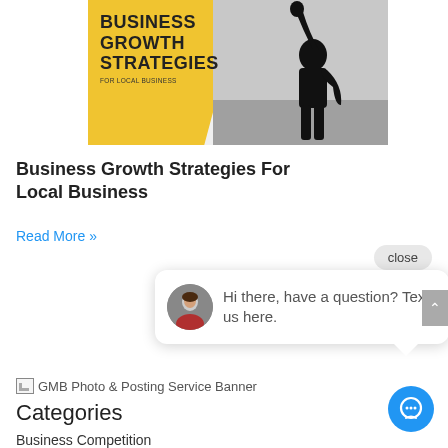[Figure (illustration): Book cover style banner: yellow background on left with black text 'BUSINESS GROWTH STRATEGIES FOR LOCAL BUSINESS', silhouette of person with raised fist on grey background on right]
Business Growth Strategies For Local Business
Read More »
[Figure (screenshot): Chat popup with female avatar photo, text: 'Hi there, have a question? Text us here.' and a close button]
[Figure (other): Broken image placeholder with alt text: GMB Photo & Posting Service Banner]
Categories
Business Competition